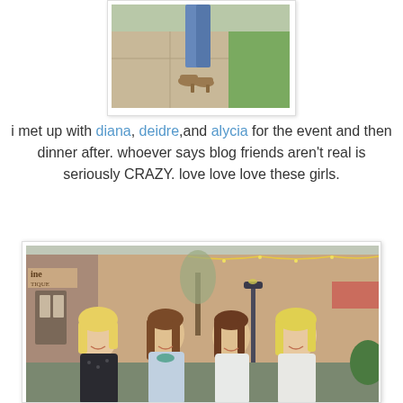[Figure (photo): Photo of person's lower body showing jeans and tan/brown shoes on a sidewalk with grass in background, displayed in a white bordered frame]
i met up with diana, deidre,and alycia for the event and then dinner after. whoever says blog friends aren't real is seriously CRAZY. love love love these girls.
[Figure (photo): Group photo of four women smiling outside a shopping center/restaurant with string lights and a light-colored building in the background. Sign partially visible reading 'ine TIQUE'.]